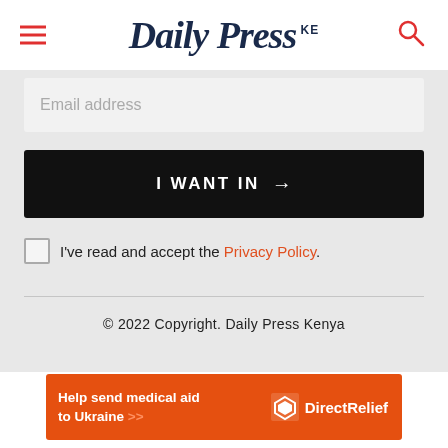Daily Press KE
Email address
I WANT IN →
I've read and accept the Privacy Policy.
© 2022 Copyright. Daily Press Kenya
[Figure (other): Direct Relief advertisement banner: orange background with text 'Help send medical aid to Ukraine >>' on the left and Direct Relief logo on the right.]